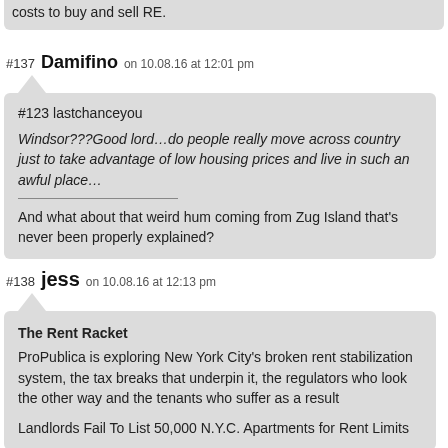costs to buy and sell RE.
#137 Damifino on 10.08.16 at 12:01 pm
#123 lastchanceyou

Windsor???Good lord…do people really move across country just to take advantage of low housing prices and live in such an awful place…
___________________________

And what about that weird hum coming from Zug Island that's never been properly explained?
#138 jess on 10.08.16 at 12:13 pm
The Rent Racket
ProPublica is exploring New York City's broken rent stabilization system, the tax breaks that underpin it, the regulators who look the other way and the tenants who suffer as a result

Landlords Fail To List 50,000 N.Y.C. Apartments for Rent Limits